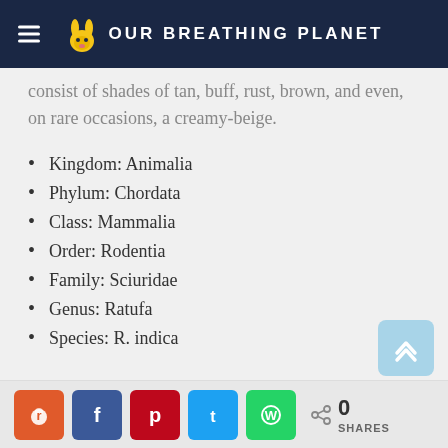OUR BREATHING PLANET
consist of shades of tan, buff, rust, brown, and even, on rare occasions, a creamy-beige.
Kingdom: Animalia
Phylum: Chordata
Class: Mammalia
Order: Rodentia
Family: Sciuridae
Genus: Ratufa
Species: R. indica
0 SHARES